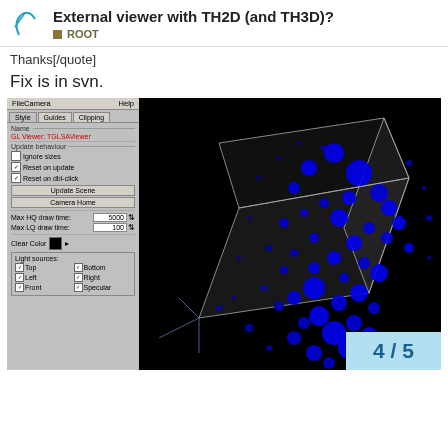External viewer with TH2D (and TH3D)?  ROOT
Thanks[/quote]
Fix is in svn.
[Figure (screenshot): Screenshot of a ROOT GL viewer showing a 3D scatter plot with blue spheres of varying sizes arranged in a cubic volume against a black background. The left panel shows style controls including Name, Update behaviour checkboxes (Ignore sizes, Reset on update, Reset on dbl-click), Update Scene and Camera Home buttons, Max HQ draw time: 5000, Max LQ draw time: 100, Clear Color (black), and Light sources panel with checkboxes for Top, Bottom, Left, Right, Front, Specular.]
4 / 5